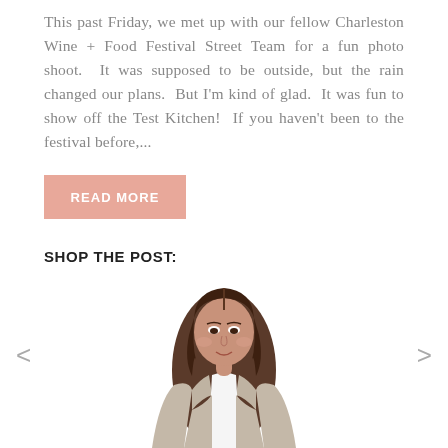This past Friday, we met up with our fellow Charleston Wine + Food Festival Street Team for a fun photo shoot. It was supposed to be outside, but the rain changed our plans. But I'm kind of glad. It was fun to show off the Test Kitchen! If you haven't been to the festival before,...
READ MORE
SHOP THE POST:
[Figure (photo): A woman with long brown hair wearing a light beige/taupe open-front drape jacket over a white top, shown from upper body, product photo style]